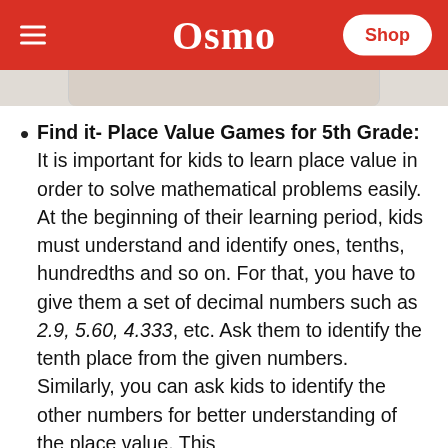Osmo
[Figure (screenshot): Partial image strip showing a game or product image at the top of the content area]
Find it- Place Value Games for 5th Grade: It is important for kids to learn place value in order to solve mathematical problems easily. At the beginning of their learning period, kids must understand and identify ones, tenths, hundredths and so on. For that, you have to give them a set of decimal numbers such as 2.9, 5.60, 4.333, etc. Ask them to identify the tenth place from the given numbers. Similarly, you can ask kids to identify the other numbers for better understanding of the place value. This